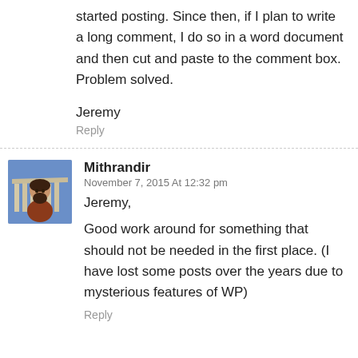started posting. Since then, if I plan to write a long comment, I do so in a word document and then cut and paste to the comment box. Problem solved.
Jeremy
Reply
Mithrandir
November 7, 2015 At 12:32 pm
Jeremy,
Good work around for something that should not be needed in the first place. (I have lost some posts over the years due to mysterious features of WP)
Reply